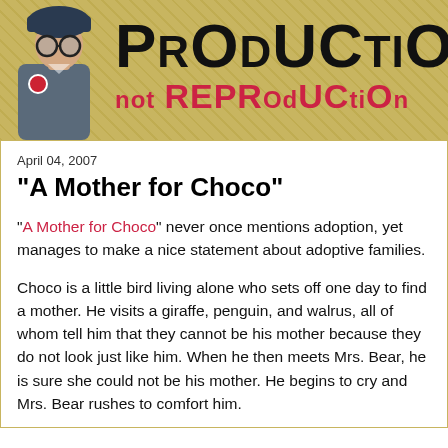[Figure (illustration): Blog header banner with gold/yellow patterned background. Left side shows a woman in blue-grey uniform with glasses and dark hat. Right side shows large decorative text 'PRoduCtion' in black with mixed case uppercase/lowercase styling, and below it 'not REPROduCtion' in pink/red text. Style is retro/propaganda poster aesthetic.]
April 04, 2007
"A Mother for Choco"
"A Mother for Choco" never once mentions adoption, yet manages to make a nice statement about adoptive families.
Choco is a little bird living alone who sets off one day to find a mother. He visits a giraffe, penguin, and walrus, all of whom tell him that they cannot be his mother because they do not look just like him. When he then meets Mrs. Bear, he is sure she could not be his mother. He begins to cry and Mrs. Bear rushes to comfort him.